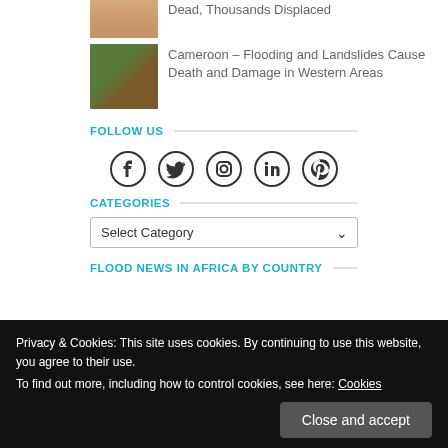[Figure (photo): Thumbnail image of a person (skin tones visible), cropped head/shoulders]
Dead, Thousands Displaced
[Figure (photo): Thumbnail image of a landslide with green moss and brown earth]
Cameroon – Flooding and Landslides Cause Death and Damage in Western Areas
FOLLOW US
[Figure (infographic): Social media icons: Facebook, Twitter, Instagram, LinkedIn, Pinterest]
CATEGORIES
Select Category
FLOOD NEWS IN AFRICA BY COUNTRY
Privacy & Cookies: This site uses cookies. By continuing to use this website, you agree to their use.
To find out more, including how to control cookies, see here: Cookies
Close and accept